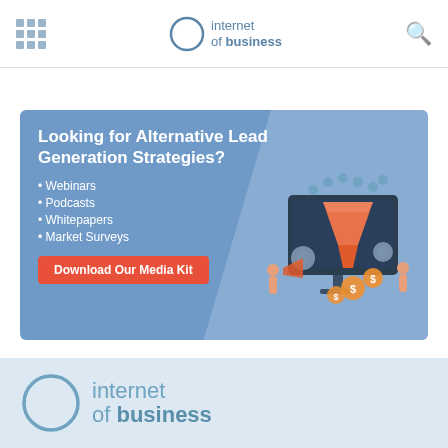internet of business
[Figure (infographic): Advertisement banner with blue background. Headline: 'Looking for Alternative Lead Generation Strategies?' with bullet points: Webinars, Podcasts, Whitepapers, Market Surveys. Red button: 'Download Our Media Kit'. Right side shows illustration of a marketing funnel on a monitor with people and dollar signs.]
[Figure (logo): Internet of Business logo in footer area with large circle and text 'internet of business']